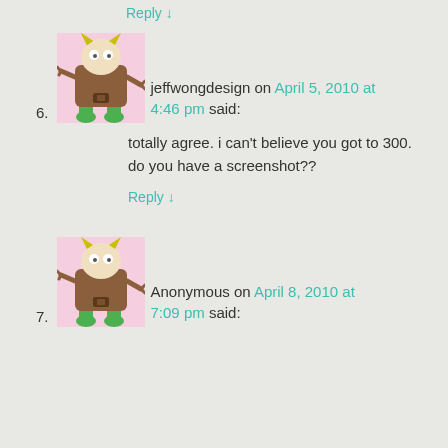Reply ↓
[Figure (illustration): Avatar image: cartoon monster character with brown body, green legs, green horns, on pink background - for user jeffwongdesign]
6. jeffwongdesign on April 5, 2010 at 4:46 pm said:
totally agree. i can't believe you got to 300. do you have a screenshot??
Reply ↓
[Figure (illustration): Avatar image: cartoon monster character with brown body, green legs, green horns, on pink background - for user Anonymous]
7. Anonymous on April 8, 2010 at 7:09 pm said: